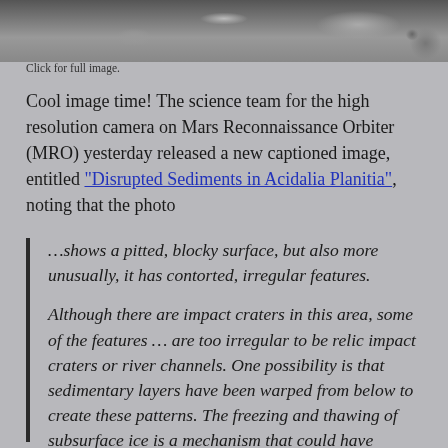[Figure (photo): Grayscale aerial/orbital image of Martian surface showing pitted, blocky terrain]
Click for full image.
Cool image time! The science team for the high resolution camera on Mars Reconnaissance Orbiter (MRO) yesterday released a new captioned image, entitled “Disrupted Sediments in Acidalia Planitia”, noting that the photo
…shows a pitted, blocky surface, but also more unusually, it has contorted, irregular features.

Although there are impact craters in this area, some of the features … are too irregular to be relic impact craters or river channels. One possibility is that sedimentary layers have been warped from below to create these patterns. The freezing and thawing of subsurface ice is a mechanism that could have caused this.